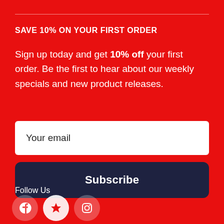SAVE 10% ON YOUR FIRST ORDER
Sign up today and get 10% off your first order. Be the first to hear about our weekly specials and new product releases.
Your email
Subscribe
Follow Us
[Figure (other): Social media icons: Facebook, star/favorites, Instagram]